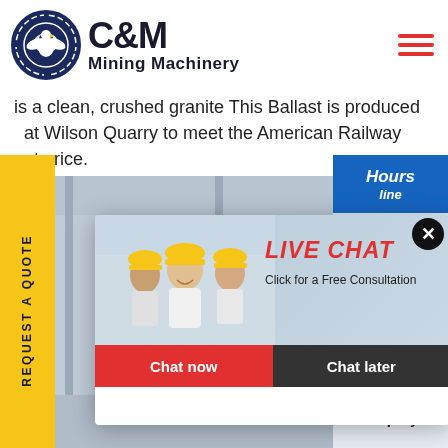[Figure (logo): C&M Mining Machinery logo with circular eagle/gear emblem in dark blue, company name in bold black text]
is a clean, crushed granite This Ballast is produced at Wilson Quarry to meet the American Railway at price.
REQUEST A QUOTE
[Figure (screenshot): Live chat popup overlay with workers in hard hats, 'LIVE CHAT' in red, 'Click for a Free Consultation', Chat now and Chat later buttons]
[Figure (photo): Factory machinery equipment, industrial setting]
[Figure (photo): Customer service agent with headset on right panel]
Hours
line
Click to Chat
Enquiry